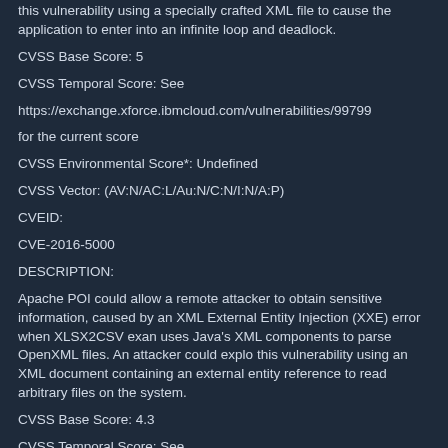this vulnerability using a specially crafted XML file to cause the application to enter into an infinite loop and deadlock.
CVSS Base Score: 5
CVSS Temporal Score: See
https://exchange.xforce.ibmcloud.com/vulnerabilities/99799
for the current score
CVSS Environmental Score*: Undefined
CVSS Vector: (AV:N/AC:L/Au:N/C:N/I:N/A:P)
CVEID:
CVE-2016-5000
DESCRIPTION:
Apache POI could allow a remote attacker to obtain sensitive information, caused by an XML External Entity Injection (XXE) error when XLSX2CSV exam uses Java's XML components to parse OpenXML files. An attacker could exploit this vulnerability using an XML document containing an external entity reference to read arbitrary files on the system.
CVSS Base Score: 4.3
CVSS Temporal Score: See
https://exchange.xforce.ibmcloud.com/vulnerabilities/115530